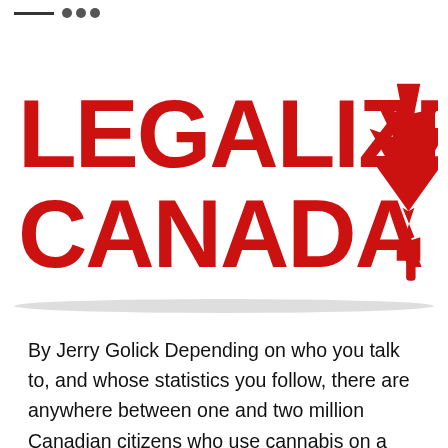[Figure (logo): Legalize Canada logo with red bold text 'LEGALIZE CANADA' and a red maple leaf icon on the right side of the two-line text]
By Jerry Golick Depending on who you talk to, and whose statistics you follow, there are anywhere between one and two million Canadian citizens who use cannabis on a regular basis (for details